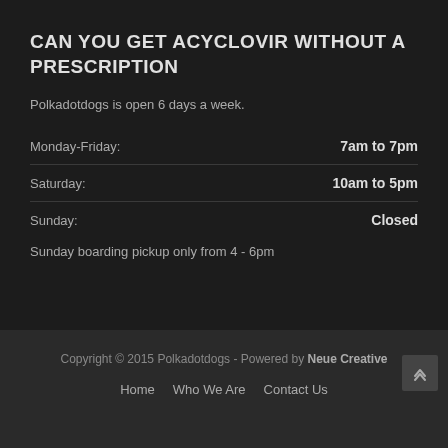CAN YOU GET ACYCLOVIR WITHOUT A PRESCRIPTION
Polkadotdogs is open 6 days a week.
| Day | Hours |
| --- | --- |
| Monday-Friday: | 7am to 7pm |
| Saturday: | 10am to 5pm |
| Sunday: | Closed |
Sunday boarding pickup only from 4 - 6pm
Copyright © 2015 Polkadotdogs - Powered by Neue Creative
Home  Who We Are  Contact Us